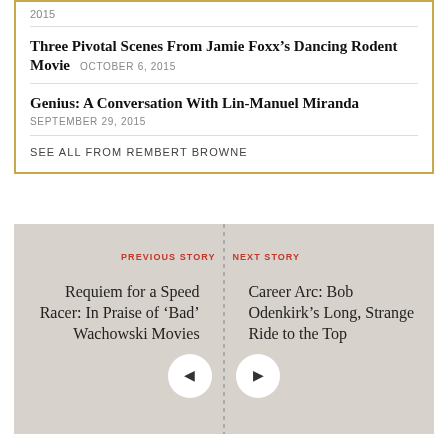2015
Three Pivotal Scenes From Jamie Foxx's Dancing Rodent Movie
OCTOBER 6, 2015
Genius: A Conversation With Lin-Manuel Miranda
SEPTEMBER 29, 2015
SEE ALL FROM REMBERT BROWNE
PREVIOUS STORY
NEXT STORY
Requiem for a Speed Racer: In Praise of 'Bad' Wachowski Movies
Career Arc: Bob Odenkirk's Long, Strange Ride to the Top